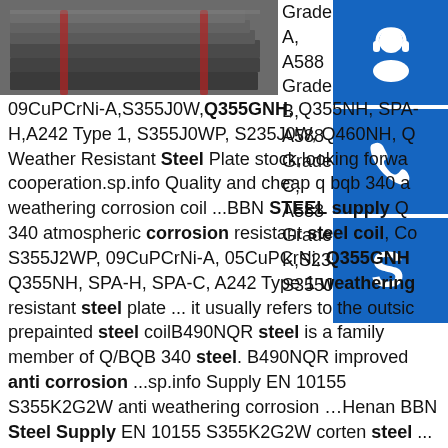[Figure (photo): Steel plates stacked in a warehouse or yard]
Grade A, A588 Grade B, A588 Grade C, A588 Grade K,S235J0W, S355J0WP, 09CuPCrNi-A,S355J0W,Q355GNH, Q355NH, SPA-H,A242 Type 1, S355J0WP, S235J0W, Q460NH, Q Weather Resistant Steel Plate stock,looking forward cooperation.sp.info Quality and cheap q bqb 340 a weathering corrosion coil ...BBN STEEL supply Q 340 atmospheric corrosion resistant steel coil, Co S355J2WP, 09CuPCrNi-A, 05CuPCrNi, Q355GNH Q355NH, SPA-H, SPA-C, A242 Type 1 weathering resistant steel plate ... it usually refers to the outsi prepainted steel coilB490NQR steel is a family member of Q/BQB 340 steel. B490NQR improved anti corrosion ...sp.info Supply EN 10155 S355K2G2W anti weathering corrosion ...Henan BBN Steel Supply EN 10155 S355K2G2W corten steel ... BBN Steel can provide EN 10155 S355K2G2W anti weathering corrosion 4mm steel plate manufacture,Corten A, A588 Grade A, A588
[Figure (infographic): Blue icon box with headset/customer service icon]
[Figure (infographic): Blue icon box with phone/call icon]
[Figure (infographic): Blue icon box with Skype icon]